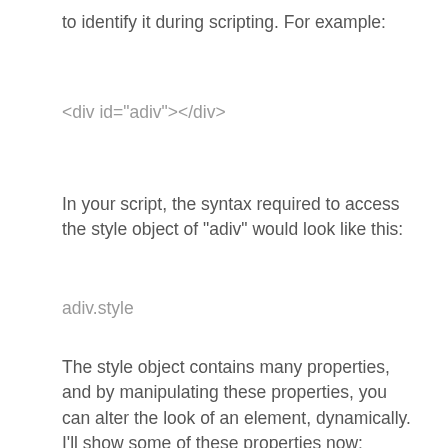to identify it during scripting. For example:
<div id="adiv"></div>
In your script, the syntax required to access the style object of "adiv" would look like this:
adiv.style
The style object contains many properties, and by manipulating these properties, you can alter the look of an element, dynamically. I'll show some of these properties now: